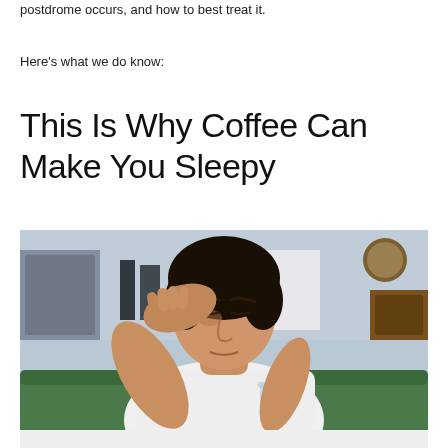postdrome occurs, and how to best treat it.
Here's what we do know:
This Is Why Coffee Can Make You Sleepy
[Figure (photo): A young man in a white t-shirt sitting on a green couch, holding a glass of water, with his hand pressed to his forehead in distress, appearing tired or in pain. Kitchen background visible.]